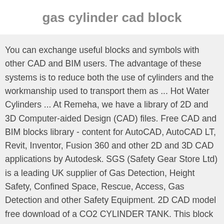gas cylinder cad block
You can exchange useful blocks and symbols with other CAD and BIM users. The advantage of these systems is to reduce both the use of cylinders and the workmanship used to transport them as ... Hot Water Cylinders ... At Remeha, we have a library of 2D and 3D Computer-aided Design (CAD) files. Free CAD and BIM blocks library - content for AutoCAD, AutoCAD LT, Revit, Inventor, Fusion 360 and other 2D and 3D CAD applications by Autodesk. SGS (Safety Gear Store Ltd) is a leading UK supplier of Gas Detection, Height Safety, Confined Space, Rescue, Access, Gas Detection and other Safety Equipment. 2D CAD model free download of a CO2 CYLINDER TANK. This block is in both Plan and Elevation view. You'll need software such as AutoCAD by Autodesk to access the CAD files. Shop Gas Cylinder Valve Plugs at Essentra ComponentsUK. Download 3D CAD models Here: Brass Cylinder heads in Vise ...